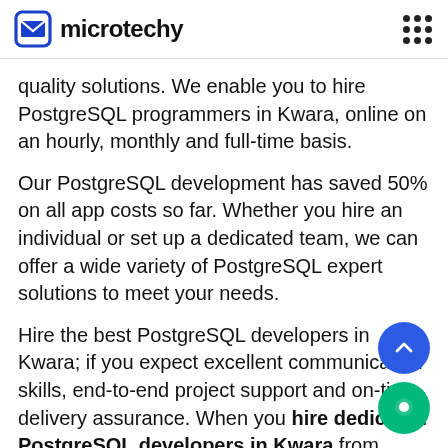microtechy
quality solutions. We enable you to hire PostgreSQL programmers in Kwara, online on an hourly, monthly and full-time basis.
Our PostgreSQL development has saved 50% on all app costs so far. Whether you hire an individual or set up a dedicated team, we can offer a wide variety of PostgreSQL expert solutions to meet your needs.
Hire the best PostgreSQL developers in Kwara; if you expect excellent communication skills, end-to-end project support and on-time delivery assurance. When you hire dedicated PostgreSQL developers in Kwara from Microtechy, Our developers can deliver solutions in 5X the time that our competitors. They aren't just certified